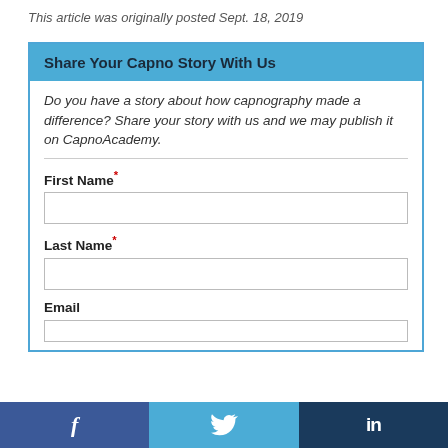This article was originally posted Sept. 18, 2019
Share Your Capno Story With Us
Do you have a story about how capnography made a difference? Share your story with us and we may publish it on CapnoAcademy.
First Name*
Last Name*
Email
[Figure (infographic): Social media share bar with Facebook (f), Twitter (bird icon), and LinkedIn (in) buttons]